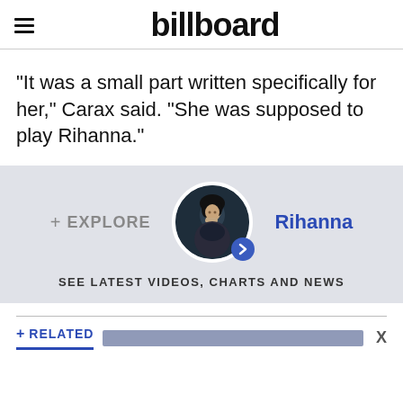billboard
“It was a small part written specifically for her,” Carax said. “She was supposed to play Rihanna.”
[Figure (infographic): Explore section with artist circle photo of Rihanna, + EXPLORE label, Rihanna name link, and SEE LATEST VIDEOS, CHARTS AND NEWS text]
+ RELATED